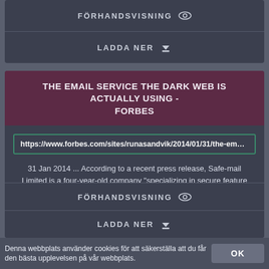FÖRHANDSVISNING
LADDA NER
THE EMAIL SERVICE THE DARK WEB IS ACTUALLY USING - FORBES
https://www.forbes.com/sites/runasandvik/2014/01/31/the-email-service-
31 Jan 2014 ... According to a recent press release, Safe-mail Limited is a four-year-old company "specializing in secure feature rich messaging systems." The ...
STATUS: AKTIVA
FÖRHANDSVISNING
LADDA NER
Denna webbplats använder cookies för att säkerställa att du får den bästa upplevelsen på vår webbplats.